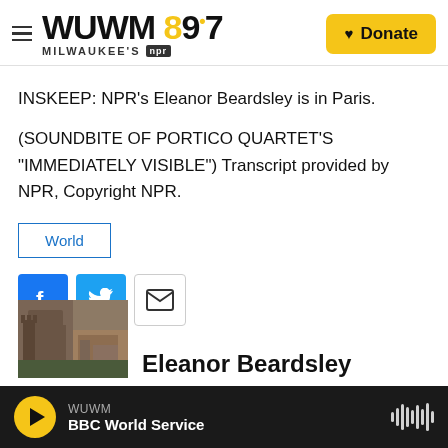WUWM 89.7 Milwaukee's NPR — Donate
INSKEEP: NPR's Eleanor Beardsley is in Paris.
(SOUNDBITE OF PORTICO QUARTET'S "IMMEDIATELY VISIBLE") Transcript provided by NPR, Copyright NPR.
World
[Figure (infographic): Social sharing icons: Facebook (blue), Twitter (blue), Email (outlined)]
[Figure (photo): Photo of Eleanor Beardsley, showing a historic stone building]
Eleanor Beardsley
WUWM — BBC World Service (audio player bar)